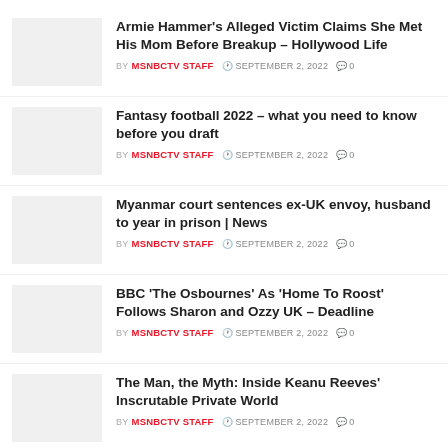Armie Hammer's Alleged Victim Claims She Met His Mom Before Breakup – Hollywood Life | BY MSNBCTV STAFF | SEPTEMBER 2, 2022 | 0
Fantasy football 2022 – what you need to know before you draft | BY MSNBCTV STAFF | SEPTEMBER 2, 2022 | 0
Myanmar court sentences ex-UK envoy, husband to year in prison | News | BY MSNBCTV STAFF | SEPTEMBER 2, 2022 | 0
BBC 'The Osbournes' As 'Home To Roost' Follows Sharon and Ozzy UK – Deadline | BY MSNBCTV STAFF | SEPTEMBER 2, 2022 | 0
The Man, the Myth: Inside Keanu Reeves' Inscrutable Private World | BY MSNBCTV STAFF | SEPTEMBER 2, 2022 | 0
Domain spoofing on the rise as cybercriminals…